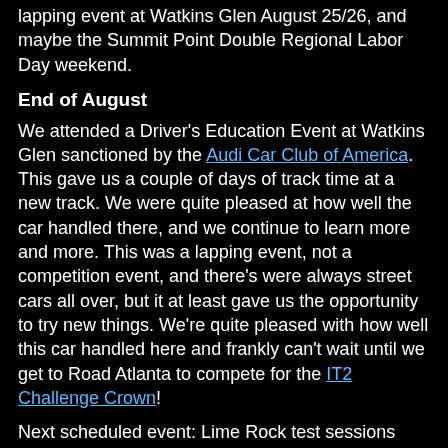lapping event at Watkins Glen August 25/26, and maybe the Summit Point Double Regional Labor Day weekend.
End of August
We attended a Driver's Education Event at Watkins Glen sanctioned by the Audi Car Club of America. This gave us a couple of days of track time at a new track. We were quite pleased at how well the car handled there, and we continue to learn more and more. This was a lapping event, not a competition event, and there's were always street cars all over, but it at least gave us the opportunity to try new things. We're quite pleased with how well this car handled here and frankly can't wait until we get to Road Atlanta to compete for the IT2 Challenge Crown!
Next scheduled event: Lime Rock test sessions September 23 and 30 with an eye towards the OMP Challenge in October.
First Week of October
September was a month of testing and development. We didn't get any races in, but we did manage to attend the LRP Media Day in preparation for the Lime Rock Challenge in mid-October (http://www.limerock.com). We gave rides